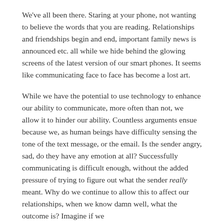We've all been there. Staring at your phone, not wanting to believe the words that you are reading. Relationships and friendships begin and end, important family news is announced etc. all while we hide behind the glowing screens of the latest version of our smart phones. It seems like communicating face to face has become a lost art.
While we have the potential to use technology to enhance our ability to communicate, more often than not, we allow it to hinder our ability. Countless arguments ensue because we, as human beings have difficulty sensing the tone of the text message, or the email. Is the sender angry, sad, do they have any emotion at all? Successfully communicating is difficult enough, without the added pressure of trying to figure out what the sender really meant. Why do we continue to allow this to affect our relationships, when we know damn well, what the outcome is? Imagine if we